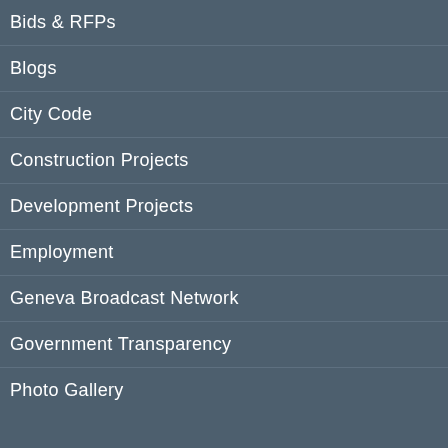Bids & RFPs
Blogs
City Code
Construction Projects
Development Projects
Employment
Geneva Broadcast Network
Government Transparency
Photo Gallery